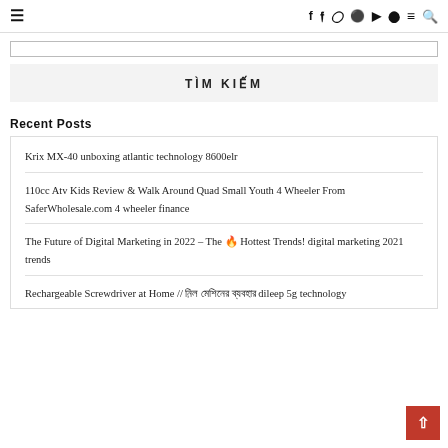☰  f  y  IG  P  ▶  ◉  ≡  🔍
TÌM KIẾM
Recent Posts
Krix MX-40 unboxing atlantic technology 8600elr
110cc Atv Kids Review & Walk Around Quad Small Youth 4 Wheeler From SaferWholesale.com 4 wheeler finance
The Future of Digital Marketing in 2022 – The 🔥 Hottest Trends! digital marketing 2021 trends
Rechargeable Screwdriver at Home // ড্রিল মেশিনের ব্যবহার dileep 5g technology